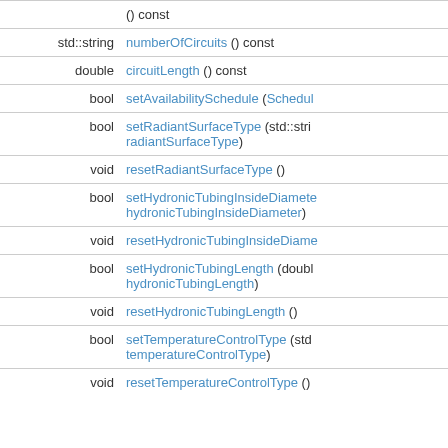| type | function |
| --- | --- |
|  | () const |
| std::string | numberOfCircuits () const |
| double | circuitLength () const |
| bool | setAvailabilitySchedule (Schedul... |
| bool | setRadiantSurfaceType (std::stri... radiantSurfaceType) |
| void | resetRadiantSurfaceType () |
| bool | setHydronicTubingInsideDiamete... hydronicTubingInsideDiameter) |
| void | resetHydronicTubingInsideDiame... |
| bool | setHydronicTubingLength (doubl... hydronicTubingLength) |
| void | resetHydronicTubingLength () |
| bool | setTemperatureControlType (std... temperatureControlType) |
| void | resetTemperatureControlType () |